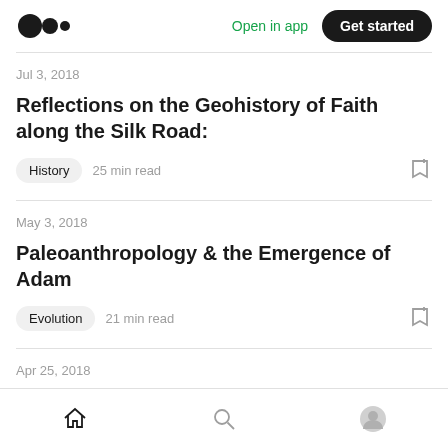Medium logo | Open in app | Get started
Jul 3, 2018
Reflections on the Geohistory of Faith along the Silk Road:
History  25 min read
May 3, 2018
Paleoanthropology & the Emergence of Adam
Evolution  21 min read
Apr 25, 2018
Home | Search | Profile